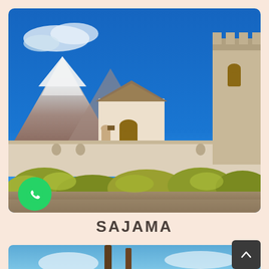[Figure (photo): Photograph of Sajama village showing a colonial-style church with an arched doorway, white stone walls, thatched roofs, yellow-green shrubs in foreground, a bell tower on the right, and a snow-capped mountain (Sajama volcano) under a bright blue sky in the background.]
[Figure (logo): WhatsApp icon — white phone handset on a green circle background.]
SAJAMA
[Figure (photo): Partially visible photograph showing circular disc-shaped objects and wooden structures against a blue sky with clouds — bottom portion only visible.]